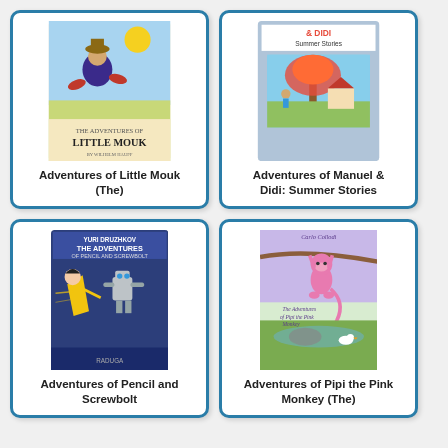[Figure (illustration): Book cover: The Adventures of Little Mouk, illustrated children's book cover with flying character over landscape]
Adventures of Little Mouk (The)
[Figure (illustration): Book cover: Adventures of Manuel & Didi: Summer Stories, showing a tropical scene with a tree and house]
Adventures of Manuel & Didi: Summer Stories
[Figure (illustration): Book cover: The Adventures of Pencil and Screwbolt by Yuri Druzhkov, showing cartoon characters running]
Adventures of Pencil and Screwbolt
[Figure (illustration): Book cover: The Adventures of Pipi the Pink Monkey by Carlo Collodi, showing a pink monkey hanging from a tree]
Adventures of Pipi the Pink Monkey (The)